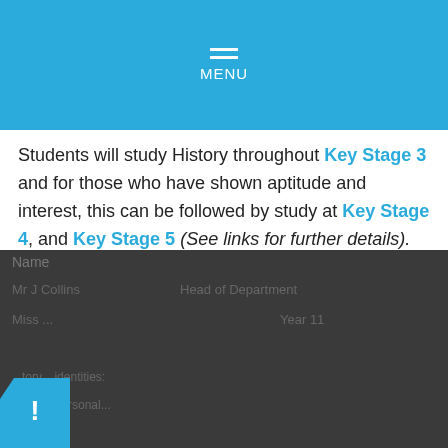MENU
Students will study History throughout Key Stage 3 and for those who have shown aptitude and interest, this can be followed by study at Key Stage 4, and Key Stage 5 (See links for further details).
Meet the History Department
The department team consists of three members of staff. These are:
Cookie Policy
This site uses cookies to store information on your computer. Click here for more information
Allow Cookies  Deny Cookies